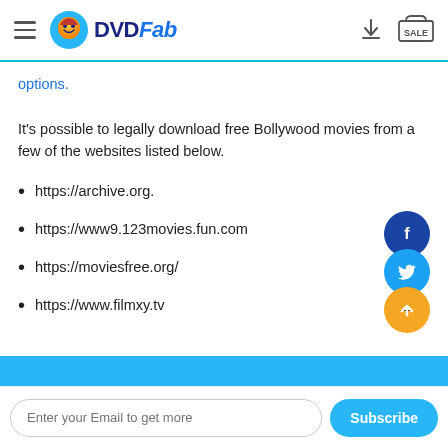DVDFab
options.
It's possible to legally download free Bollywood movies from a few of the websites listed below.
https://archive.org.
https://www9.123movies.fun.com
https://moviesfree.org/
https://www.filmxy.tv
Enter your Email to get more  Subscribe